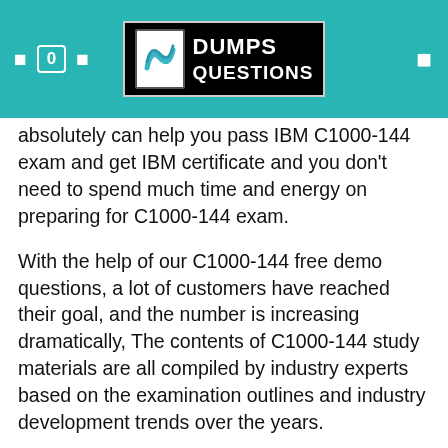[Figure (logo): DumpsQuestions logo with teal header background, icons for menu and search on the left, and a hamburger menu icon on the right]
absolutely can help you pass IBM C1000-144 exam and get IBM certificate and you don't need to spend much time and energy on preparing for C1000-144 exam.
With the help of our C1000-144 free demo questions, a lot of customers have reached their goal, and the number is increasing dramatically, The contents of C1000-144 study materials are all compiled by industry experts based on the examination outlines and industry development trends over the years.
Now, we provide you with the comprehensive and most valid C1000-144 updated study material, So, quicken your pace, follow the C1000-144 test materials, begin to act, and keep moving forward for your dreams!
As a relatively renowned company in C1000-144 exam certification field, we have a professional team containing